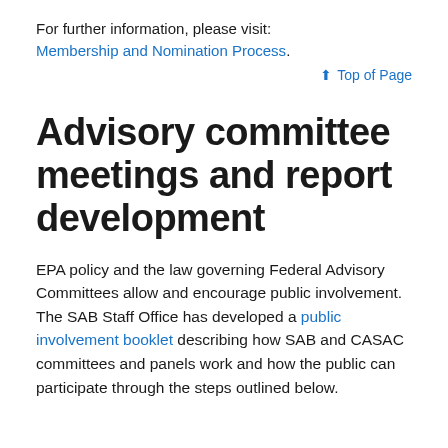For further information, please visit:
Membership and Nomination Process.
↑ Top of Page
Advisory committee meetings and report development
EPA policy and the law governing Federal Advisory Committees allow and encourage public involvement. The SAB Staff Office has developed a public involvement booklet describing how SAB and CASAC committees and panels work and how the public can participate through the steps outlined below.